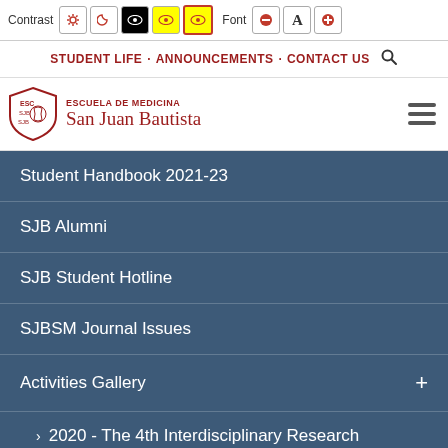Contrast [icons] Font [icons]
STUDENT LIFE · ANNOUNCEMENTS · CONTACT US
[Figure (logo): Escuela de Medicina San Juan Bautista shield logo with red text]
Student Handbook 2021-23
SJB Alumni
SJB Student Hotline
SJBSM Journal Issues
Activities Gallery +
> 2020 - The 4th Interdisciplinary Research